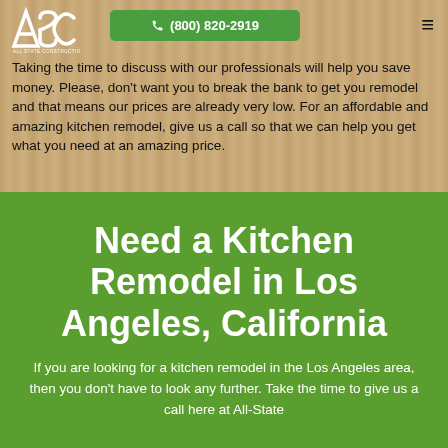ASC All-State Construction Inc. logo with phone button (800) 820-2919 and hamburger menu
Taking the time to discuss with our professionals will help you save money. Please, don't want you to break the bank to get you remodel and that means our prices are already very low. For an affordable and amazing kitchen remodel, give us a call so that we can help you get what you need at an amazing price.
Need a Kitchen Remodel in Los Angeles, California
If you are looking for a kitchen remodel in the Los Angeles area, then you don't have to look any further. Take the time to give us a call here at All-State